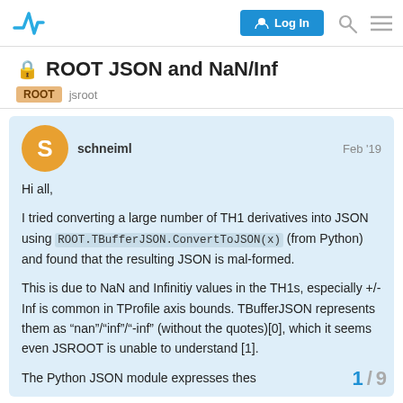ROOT JSON and NaN/Inf — ROOT forum
ROOT JSON and NaN/Inf
ROOT   jsroot
schneiml   Feb '19

Hi all,

I tried converting a large number of TH1 derivatives into JSON using ROOT.TBufferJSON.ConvertToJSON(x) (from Python) and found that the resulting JSON is mal-formed.

This is due to NaN and Infinitiy values in the TH1s, especially +/-Inf is common in TProfile axis bounds. TBufferJSON represents them as “nan”/“inf”/“-inf” (without the quotes)[0], which it seems even JSROOT is unable to understand [1].

The Python JSON module expresses thes